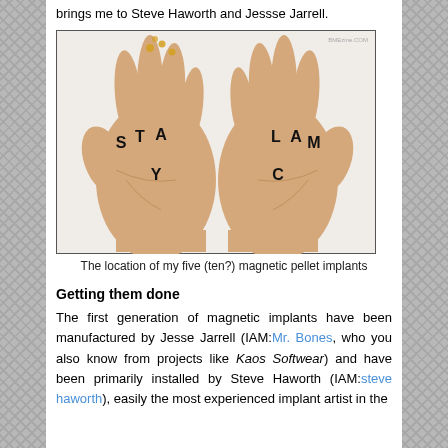brings me to Steve Haworth and Jessse Jarrell.
[Figure (photo): Two hands held up palm-facing, with letters S, T, A, Y tattooed on one hand and C, A, L, M on the other, spelling STAY CALM. Small circular marks on some fingertips indicating magnetic pellet implant locations. Watermark: BMEzine.com]
The location of my five (ten?) magnetic pellet implants
Getting them done
The first generation of magnetic implants have been manufactured by Jesse Jarrell (IAM:Mr. Bones, who you also know from projects like Kaos Softwear) and have been primarily installed by Steve Haworth (IAM:steve haworth), easily the most experienced implant artist in the